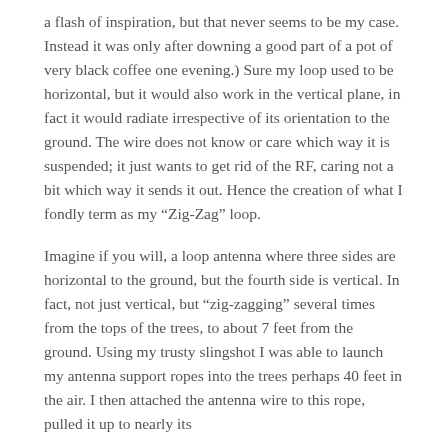a flash of inspiration, but that never seems to be my case. Instead it was only after downing a good part of a pot of very black coffee one evening.) Sure my loop used to be horizontal, but it would also work in the vertical plane, in fact it would radiate irrespective of its orientation to the ground. The wire does not know or care which way it is suspended; it just wants to get rid of the RF, caring not a bit which way it sends it out. Hence the creation of what I fondly term as my “Zig-Zag” loop.
Imagine if you will, a loop antenna where three sides are horizontal to the ground, but the fourth side is vertical. In fact, not just vertical, but “zig-zagging” several times from the tops of the trees, to about 7 feet from the ground. Using my trusty slingshot I was able to launch my antenna support ropes into the trees perhaps 40 feet in the air. I then attached the antenna wire to this rope, pulled it up to nearly its